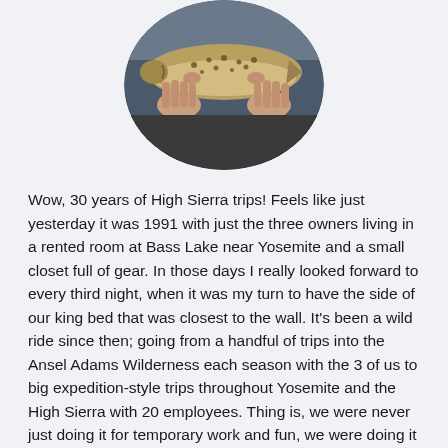[Figure (photo): Circular cropped photo of a person holding a large trout fish with both hands, outdoors near water. The fish has spotted markings typical of a brown or rainbow trout.]
Wow, 30 years of High Sierra trips! Feels like just yesterday it was 1991 with just the three owners living in a rented room at Bass Lake near Yosemite and a small closet full of gear. In those days I really looked forward to every third night, when it was my turn to have the side of our king bed that was closest to the wall. It's been a wild ride since then; going from a handful of trips into the Ansel Adams Wilderness each season with the 3 of us to big expedition-style trips throughout Yosemite and the High Sierra with 20 employees. Thing is, we were never just doing it for temporary work and fun, we were doing it to